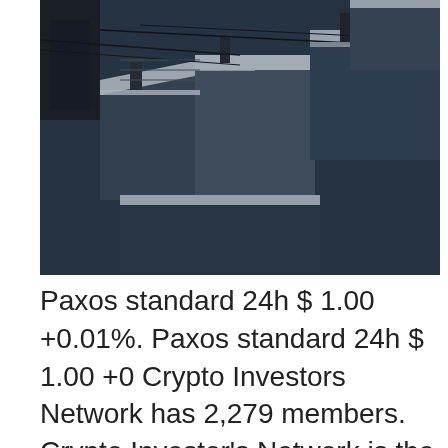[Figure (photo): Aerial view of snow-covered rooftops of urban buildings, dark and moody tones with blue-gray color cast]
Paxos standard 24h $ 1.00 +0.01%. Paxos standard 24h $ 1.00 +0 Crypto Investors Network has 2,279 members. Crypto Investor's Network is the best place to get the best news, trading, technical analysis and price prediction of the crazy world of cryptocurrency!!! Techopedia explains Cryptomining. In cryptocurrency mining, the miner delivers the processing power to create new blockchain transactions that make up a particular block of content. Medical definition of cryptomnesia: the appearance in consciousness of memory images which are not recognized as such but which